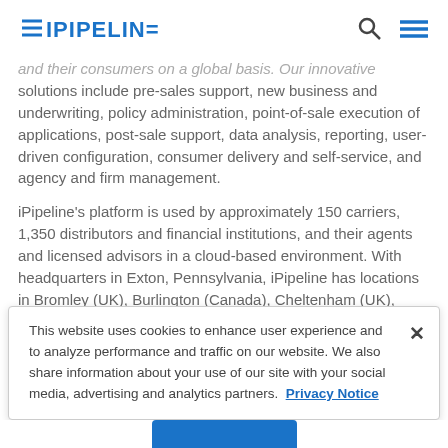iPipeline
and their consumers on a global basis. Our innovative solutions include pre-sales support, new business and underwriting, policy administration, point-of-sale execution of applications, post-sale support, data analysis, reporting, user-driven configuration, consumer delivery and self-service, and agency and firm management.
iPipeline's platform is used by approximately 150 carriers, 1,350 distributors and financial institutions, and their agents and licensed advisors in a cloud-based environment. With headquarters in Exton, Pennsylvania, iPipeline has locations in Bromley (UK), Burlington (Canada), Cheltenham (UK), Dallas, Fort Lauderdale, Huntersville, Ontario (CA), Philadelphia, Pleasanton, and
This website uses cookies to enhance user experience and to analyze performance and traffic on our website. We also share information about your use of our site with your social media, advertising and analytics partners. Privacy Notice